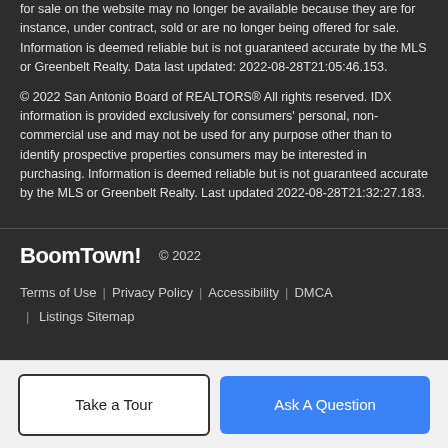for sale on the website may no longer be available because they are for instance, under contract, sold or are no longer being offered for sale. Information is deemed reliable but is not guaranteed accurate by the MLS or Greenbelt Realty. Data last updated: 2022-08-28T21:05:46.153.
© 2022 San Antonio Board of REALTORS® All rights reserved. IDX information is provided exclusively for consumers' personal, non-commercial use and may not be used for any purpose other than to identify prospective properties consumers may be interested in purchasing. Information is deemed reliable but is not guaranteed accurate by the MLS or Greenbelt Realty. Last updated 2022-08-28T21:32:27.183.
BoomTown! © 2022 | Terms of Use | Privacy Policy | Accessibility | DMCA | Listings Sitemap
Take a Tour | Ask A Question